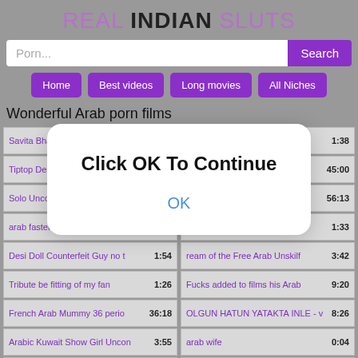REAL INDIAN SLUTS
Porn... Search
Home
Best videos
Long movies
All Niches
Wonderful Arab porn films
[Figure (screenshot): Grid of video thumbnails with titles and durations]
Click OK To Continue
OK